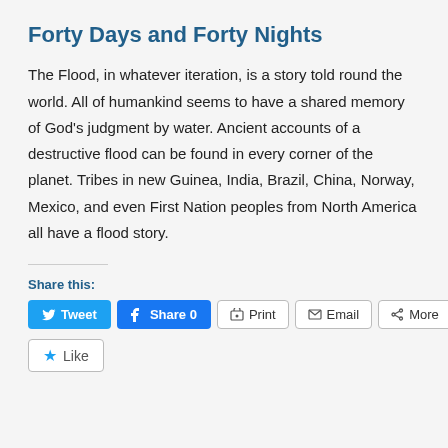Forty Days and Forty Nights
The Flood, in whatever iteration, is a story told round the world. All of humankind seems to have a shared memory of God's judgment by water. Ancient accounts of a destructive flood can be found in every corner of the planet. Tribes in new Guinea, India, Brazil, China, Norway, Mexico, and even First Nation peoples from North America all have a flood story.
Share this:
Tweet  Share 0  Print  Email  More
Like